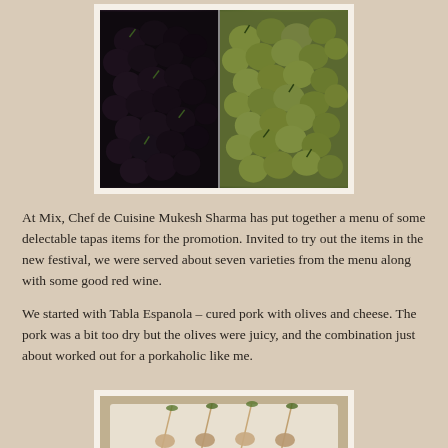[Figure (photo): A white serving dish with two compartments: left side filled with dark/black olives garnished with herbs, right side filled with green olives also garnished with herbs.]
At Mix, Chef de Cuisine Mukesh Sharma has put together a menu of some delectable tapas items for the promotion. Invited to try out the items in the new festival, we were served about seven varieties from the menu along with some good red wine.
We started with Tabla Espanola – cured pork with olives and cheese. The pork was a bit too dry but the olives were juicy, and the combination just about worked out for a porkaholic like me.
[Figure (photo): Bottom portion of a photo showing what appears to be food items with toothpicks/skewers garnished with herbs on a white plate.]